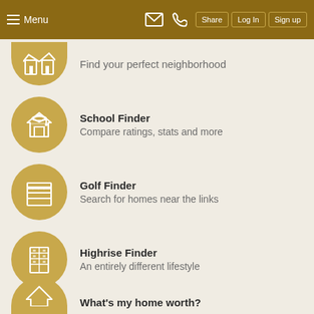Menu | Share | Log In | Sign up
Find your perfect neighborhood
School Finder
Compare ratings, stats and more
Golf Finder
Search for homes near the links
Highrise Finder
An entirely different lifestyle
What's my home worth?